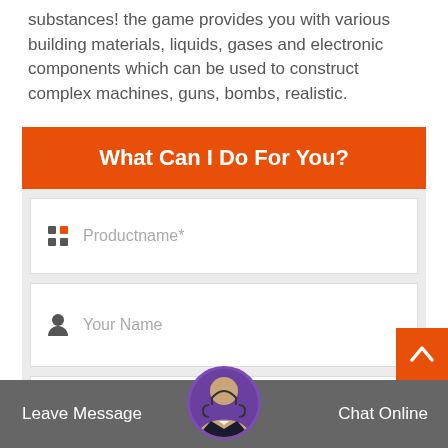substances! the game provides you with various building materials, liquids, gases and electronic components which can be used to construct complex machines, guns, bombs, realistic.
What Can I Do For You?
[Figure (screenshot): Contact form with fields for Productname*, Your Name, and Email*]
Leave Message   Chat Online